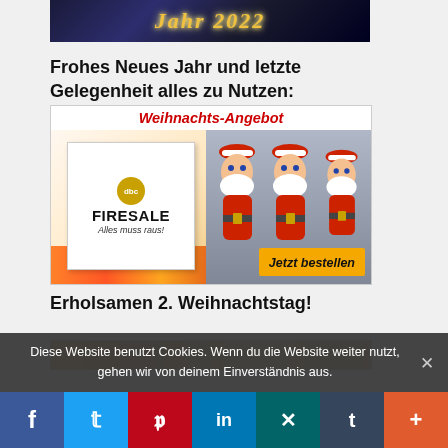[Figure (photo): Fireworks image with text 'Jahr 2022' in golden cursive letters on dark blue/purple background]
Frohes Neues Jahr und letzte Gelegenheit alles zu Nutzen:
[Figure (photo): Advertisement image with 'Weihnachts-Angebot' in red italic text at top, FIRESALE box product on left with fire decorations, Santa Claus figurines on right, and 'Jetzt bestellen' yellow button at bottom right]
Erholsamen 2. Weihnachtstag!
[Figure (photo): Partially visible image at bottom of page]
Diese Website benutzt Cookies. Wenn du die Website weiter nutzt, gehen wir von deinem Einverständnis aus.